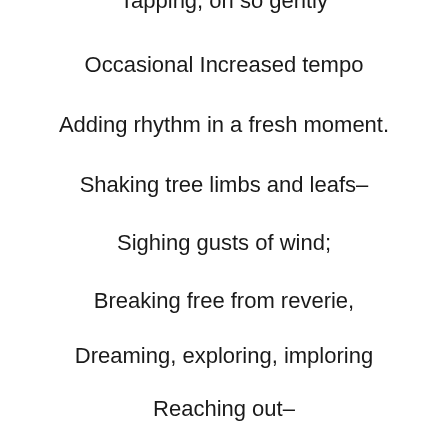Tapping, oh so gently
Occasional Increased tempo
Adding rhythm in a fresh moment.
Shaking tree limbs and leafs–
Sighing gusts of wind;
Breaking free from reverie,
Dreaming, exploring, imploring
Reaching out–
Turning inward.
Inviting gently,
Each receiving;